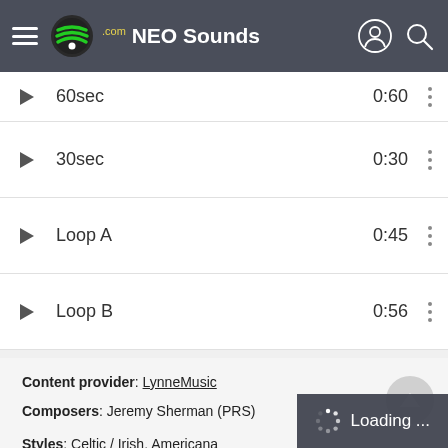NEO Sounds .com
60sec   0:60
30sec   0:30
Loop A   0:45
Loop B   0:56
Content provider: LynneMusic
Composers: Jeremy Sherman (PRS)
Publishers: Lynne Publishing (PRS)
Styles: Celtic / Irish, Americana